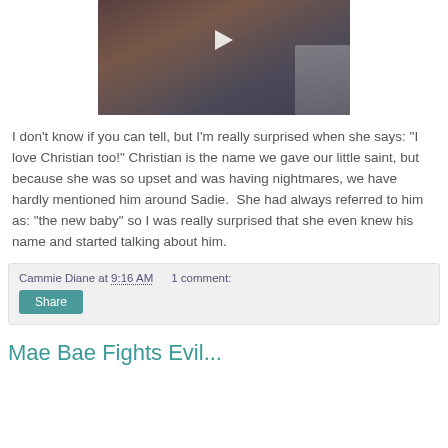[Figure (screenshot): Video thumbnail showing a young blonde girl in a room with toys and shelves, with a play button overlay in the center.]
I don't know if you can tell, but I'm really surprised when she says: "I love Christian too!" Christian is the name we gave our little saint, but because she was so upset and was having nightmares, we have hardly mentioned him around Sadie.  She had always referred to him as: "the new baby" so I was really surprised that she even knew his name and started talking about him.
Cammie Diane at 9:16 AM   1 comment:
Share
Mae Bae Fights Evil...